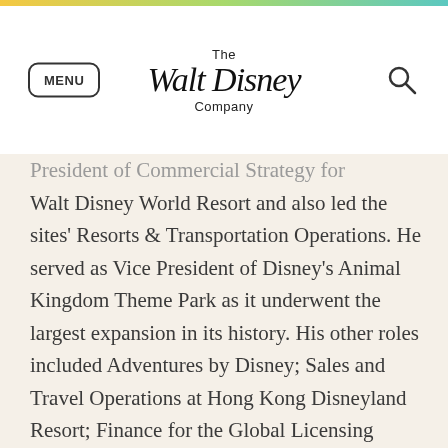The Walt Disney Company — MENU header with search icon
President of Commercial Strategy for Walt Disney World Resort and also led the sites' Resorts & Transportation Operations. He served as Vice President of Disney's Animal Kingdom Theme Park as it underwent the largest expansion in its history. His other roles included Adventures by Disney; Sales and Travel Operations at Hong Kong Disneyland Resort; Finance for the Global Licensing division of Disney Consumer Products; and Business